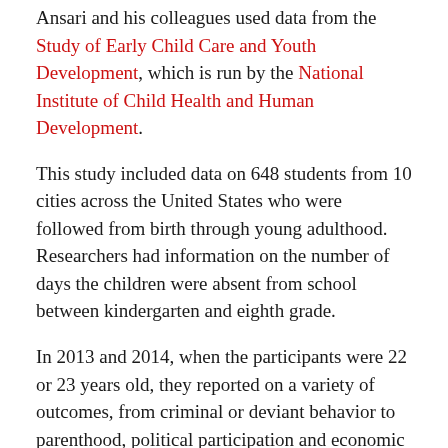Ansari and his colleagues used data from the Study of Early Child Care and Youth Development, which is run by the National Institute of Child Health and Human Development.
This study included data on 648 students from 10 cities across the United States who were followed from birth through young adulthood. Researchers had information on the number of days the children were absent from school between kindergarten and eighth grade.
In 2013 and 2014, when the participants were 22 or 23 years old, they reported on a variety of outcomes, from criminal or deviant behavior to parenthood, political participation and economic hardship.
Results showed that school absenteeism didn't have any relation with criminal, risky or deviant behavior, Ansari said. But it was linked to political engagement and educational and economic success.